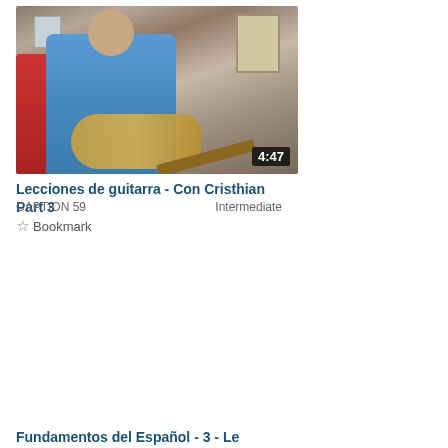[Figure (photo): Video thumbnail showing a man playing guitar in a historic building, duration badge showing 4:47]
Lecciones de guitarra - Con Cristhian Part 3
CAPTION 59    Intermediate
☆ Bookmark
[Figure (photo): Video thumbnail showing a woman with pink glasses sitting at a desk with books, duration badge showing 3:10]
Fundamentos del Español - 3 - Le Estructura de las Frases